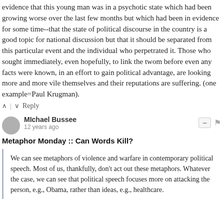evidence that this young man was in a psychotic state which had been growing worse over the last few months but which had been in evidence for some time--that the state of political discourse in the country is a good topic for national discussion but that it should be separated from this particular event and the individual who perpetrated it. Those who sought immediately, even hopefully, to link the twom before even any facts were known, in an effort to gain political advantage, are looking more and more vile themselves and their reputations are suffering. (one example=Paul Krugman).
^ | v Reply
MIchael Bussee
12 years ago
Metaphor Monday :: Can Words Kill?
We can see metaphors of violence and warfare in contemporary political speech. Most of us, thankfully, don't act out these metaphors. Whatever the case, we can see that political speech focuses more on attacking the person, e.g., Obama, rather than ideas, e.g., healthcare.